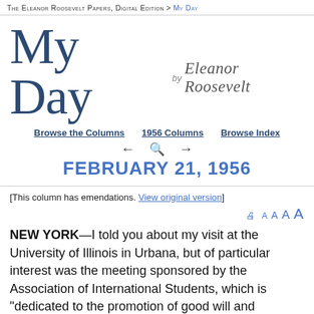THE ELEANOR ROOSEVELT PAPERS, DIGITAL EDITION > MY DAY
My Day by Eleanor Roosevelt
Browse the Columns  1956 Columns  Browse Index
← 🔍 →
FEBRUARY 21, 1956
[This column has emendations. View original version]
NEW YORK—I told you about my visit at the University of Illinois in Urbana, but of particular interest was the meeting sponsored by the Association of International Students, which is "dedicated to the promotion of good will and understanding between Americans and students from other